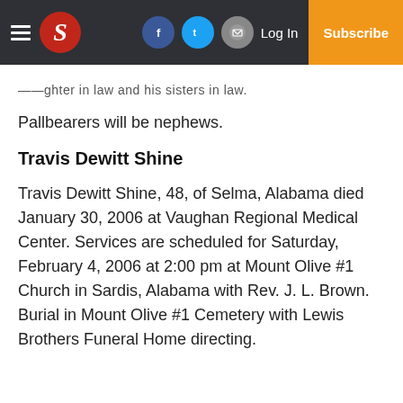S | Log In | Subscribe
——ghter in law and his sisters in law.
Pallbearers will be nephews.
Travis Dewitt Shine
Travis Dewitt Shine, 48, of Selma, Alabama died January 30, 2006 at Vaughan Regional Medical Center. Services are scheduled for Saturday, February 4, 2006 at 2:00 pm at Mount Olive #1 Church in Sardis, Alabama with Rev. J. L. Brown. Burial in Mount Olive #1 Cemetery with Lewis Brothers Funeral Home directing.